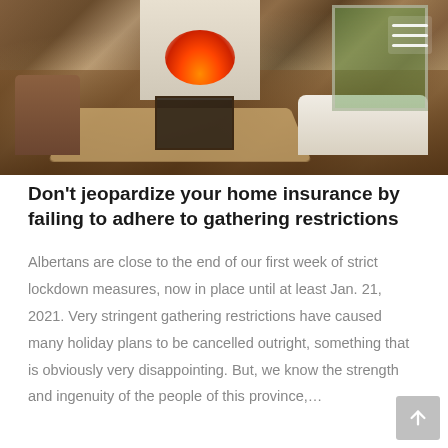[Figure (photo): Interior photo of a modern living room with hardwood floors, a fireplace, beige sofa with grey throw, wicker chair, metal coffee table, and large windows with green foliage outside]
Don't jeopardize your home insurance by failing to adhere to gathering restrictions
Albertans are close to the end of our first week of strict lockdown measures, now in place until at least Jan. 21, 2021. Very stringent gathering restrictions have caused many holiday plans to be cancelled outright, something that is obviously very disappointing. But, we know the strength and ingenuity of the people of this province,…